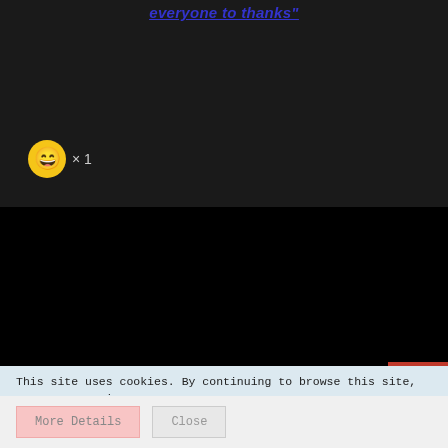everyone to thanks
[Figure (illustration): Laughing emoji reaction with count x1 on dark background]
[Figure (photo): Black/dark area, likely a video player or image area]
[Figure (other): Red navigation arrows box with up and down chevrons]
This site uses cookies. By continuing to browse this site, you are agreeing to our use of cookies.
More Details   Close